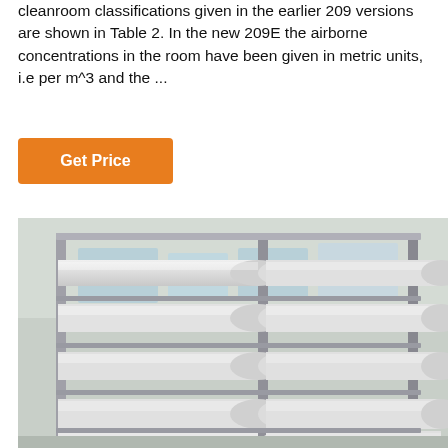cleanroom classifications given in the earlier 209 versions are shown in Table 2. In the new 209E the airborne concentrations in the room have been given in metric units, i.e per m^3 and the ...
[Figure (other): Button labeled 'Get Price' with orange background]
[Figure (photo): Industrial reverse osmosis or filtration equipment showing multiple large white cylindrical filter vessels stacked in rows on a stainless steel frame rack, photographed in a factory or warehouse setting.]